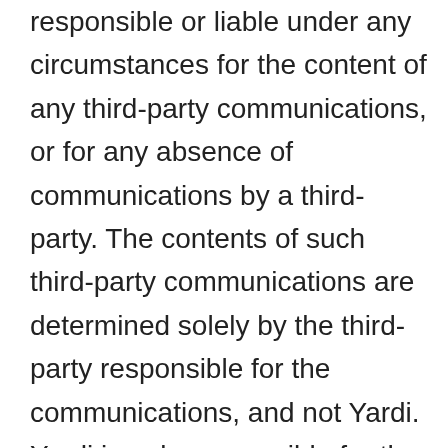responsible or liable under any circumstances for the content of any third-party communications, or for any absence of communications by a third-party. The contents of such third-party communications are determined solely by the third-party responsible for the communications, and not Yardi. Yardi is only responsible for the content of information issued directly by Yardi. You acknowledge and agree that you will address any issues or concerns about third-party communications with the responsible third-party by contacting said third-party directly and not Yardi. Yardi shall not become involved